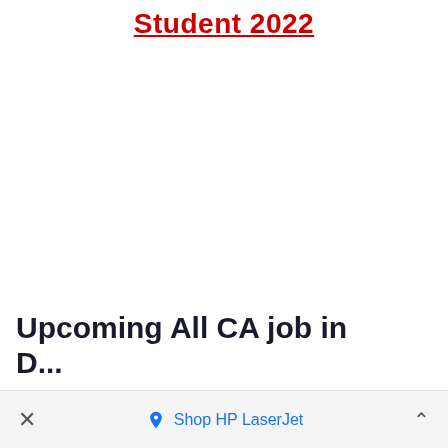Student 2022
Upcoming All CA job in D... 2022 Notificati...
× Shop HP LaserJet ^